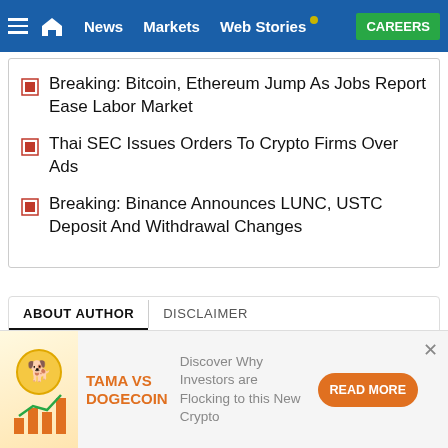Navigation bar: hamburger menu, home icon, News, Markets, Web Stories, CAREERS
Breaking: Bitcoin, Ethereum Jump As Jobs Report Ease Labor Market
Thai SEC Issues Orders To Crypto Firms Over Ads
Breaking: Binance Announces LUNC, USTC Deposit And Withdrawal Changes
ABOUT AUTHOR | DISCLAIMER
An engineering graduate, Prashant focuses on UK and Indian markets. As a crypto-journalist, his…
[Figure (illustration): Advertisement banner for TAMA VS DOGECOIN with a cartoon character icon and bar chart graphic, orange Read More button]
Discover Why Investors are Flocking to this New Crypto